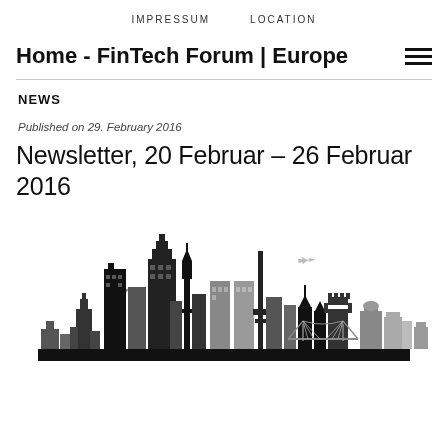IMPRESSUM   LOCATION
Home - FinTech Forum | Europe
NEWS
Published on 29. February 2016
Newsletter, 20 Februar – 26 Februar 2016
[Figure (illustration): Black and white silhouette skyline illustration of a European city (Frankfurt) with skyscrapers, towers, churches, bridges, and two small airplane silhouettes in the sky.]